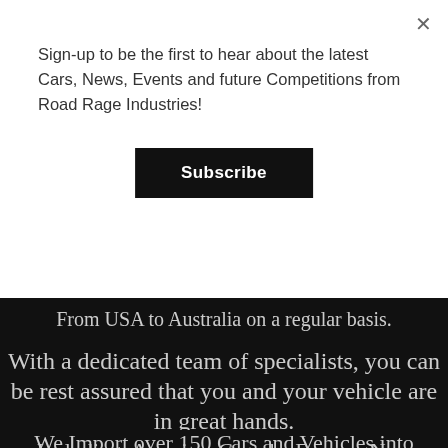Sign-up to be the first to hear about the latest Cars, News, Events and future Competitions from Road Rage Industries!
Subscribe
From USA to Australia on a regular basis.
With a dedicated team of specialists, you can be rest assured that you and your vehicle are in great hands.
We Import over 150 Cars and Vehicles into Australia per year From all Around The World!
Including; America, Canada, Europe, New